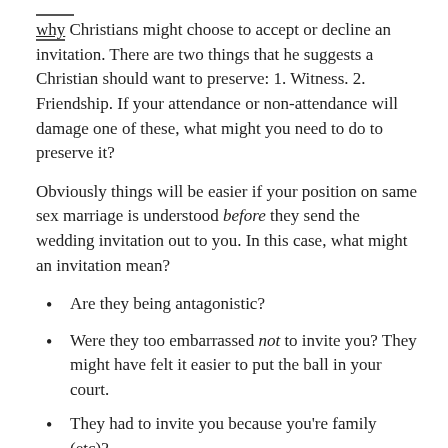why Christians might choose to accept or decline an invitation. There are two things that he suggests a Christian should want to preserve: 1. Witness. 2. Friendship. If your attendance or non-attendance will damage one of these, what might you need to do to preserve it?
Obviously things will be easier if your position on same sex marriage is understood before they send the wedding invitation out to you. In this case, what might an invitation mean?
Are they being antagonistic?
Were they too embarrassed not to invite you? They might have felt it easier to put the ball in your court.
They had to invite you because you're family (etc)?
Perhaps they value you and want you to be there?
It is worth putting yourself in their shoes – if they know your feelings on the issue, what might be their feelings about...